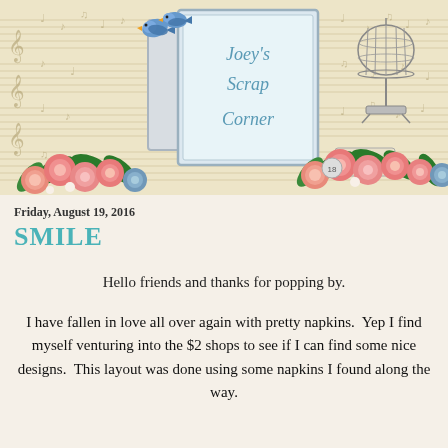[Figure (illustration): Blog header banner for 'Joey's Scrap Corner' featuring sheet music background, decorative frames/whiteboards, pink and blue roses, two bluebirds, and a birdcage on a stand. The blog title 'Joey's Scrap Corner' is written in blue italic script on a whiteboard frame.]
Friday, August 19, 2016
SMILE
Hello friends and thanks for popping by.
I have fallen in love all over again with pretty napkins.  Yep I find myself venturing into the $2 shops to see if I can find some nice designs.  This layout was done using some napkins I found along the way.